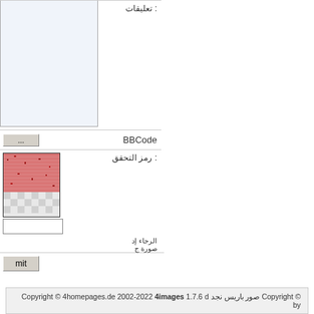تعليقات :
BBCode
رمز التحقق :
الرجاء إدخال الرمز الذي تراه في الصورة جيداً
© Copyright صور باريس نجد Copyright © 4homepages.de 2002-2022 4images 1.7.6 d by